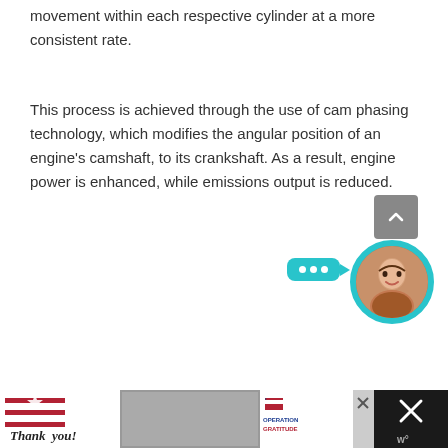movement within each respective cylinder at a more consistent rate.
This process is achieved through the use of cam phasing technology, which modifies the angular position of an engine's camshaft, to its crankshaft. As a result, engine power is enhanced, while emissions output is reduced.
[Figure (screenshot): Screenshot footer showing an Operation Gratitude advertisement with 'Thank you!' text, military personnel image, and a close button on the right side with an X icon.]